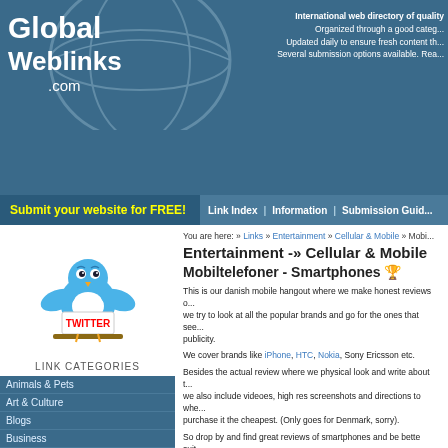Global Weblinks .com — International web directory of quality. Organized through a good category structure. Updated daily to ensure fresh content. Several submission options available.
Submit your website for FREE!
Link Index | Information | Submission Guide
[Figure (illustration): Twitter bird mascot holding a sign that says TWITTER]
LINK CATEGORIES
Animals & Pets
Art & Culture
Blogs
Business
Computer & Internet
Computer Games
Directories
Entertainment
Card Games
Cellular & Mobile
Chat
Comedy
Consumer Electronics
You are here: » Links » Entertainment » Cellular & Mobile » Mobi...
Entertainment -» Cellular & Mobile
Mobiltelefoner - Smartphones 🏆
This is our danish mobile hangout where we make honest reviews o... we try to look at all the popular brands and go for the ones that see... publicity.
We cover brands like iPhone, HTC, Nokia, Sony Ericsson etc.
Besides the actual review where we physical look and write about t... we also include videoes, high res screenshots and directions to whe... purchase it the cheapest. (Only goes for Denmark, sorry).
So drop by and find great reviews of smartphones and be bette suit... need your next smartphone
Twitter: @dluksdk
Facebook: Facebook page
Keywords: smartphone, mobil, htc, iphone, nokia, sony ericsson, a...
Last edit: 22-11-2010 18:39:09
Category: Entertainment » Cellular & Mobile
URL: http://www.dluks.dk/c/elektronik/mobil